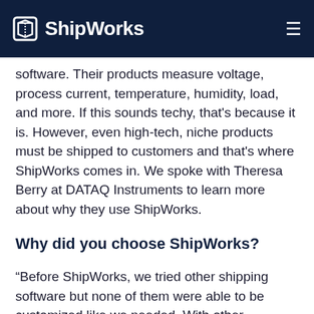ShipWorks
software. Their products measure voltage, process current, temperature, humidity, load, and more. If this sounds techy, that's because it is. However, even high-tech, niche products must be shipped to customers and that's where ShipWorks comes in. We spoke with Theresa Berry at DATAQ Instruments to learn more about why they use ShipWorks.
Why did you choose ShipWorks?
“Before ShipWorks, we tried other shipping software but none of them were able to be customized like we needed. With other software, we had to change our processes to fit their software. With ShipWorks, the software is so customizable that it fits in to our processes and